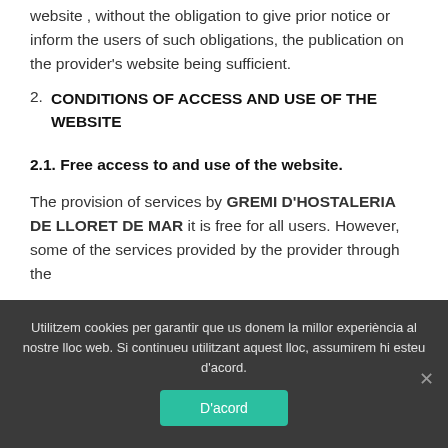website , without the obligation to give prior notice or inform the users of such obligations, the publication on the provider's website being sufficient.
2. CONDITIONS OF ACCESS AND USE OF THE WEBSITE
2.1. Free access to and use of the website.
The provision of services by GREMI D'HOSTALERIA DE LLORET DE MAR it is free for all users. However, some of the services provided by the provider through the
Utilitzem cookies per garantir que us donem la millor experiència al nostre lloc web. Si continueu utilitzant aquest lloc, assumirem hi esteu d'acord.
D'acord